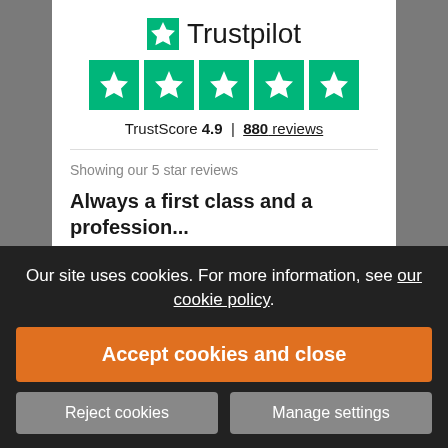[Figure (logo): Trustpilot logo with green star and brand name]
[Figure (infographic): Five green star rating boxes with white stars]
TrustScore 4.9 | 880 reviews
Showing our 5 star reviews
Always a first class and a profession...
Always a first class and a professional service from It'seeze. Lee Wilson was excellent at helping me set up my I phone...
Geoff Wheeler, 17 August
Our site uses cookies. For more information, see our cookie policy.
Accept cookies and close
Reject cookies
Manage settings